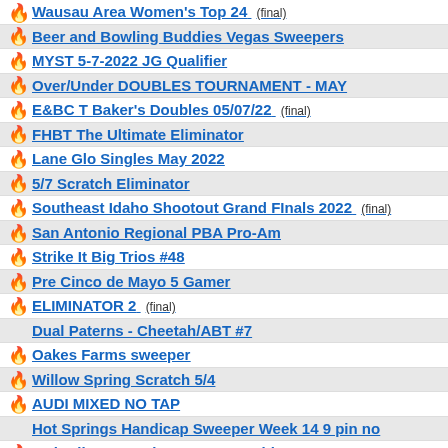Wausau Area Women's Top 24 (final)
Beer and Bowling Buddies Vegas Sweepers
MYST 5-7-2022 JG Qualifier
Over/Under DOUBLES TOURNAMENT - MAY
E&BC T Baker's Doubles 05/07/22 (final)
FHBT The Ultimate Eliminator
Lane Glo Singles May 2022
5/7 Scratch Eliminator
Southeast Idaho Shootout Grand FInals 2022 (final)
San Antonio Regional PBA Pro-Am
Strike It Big Trios #48
Pre Cinco de Mayo 5 Gamer
ELIMINATOR 2 (final)
Dual Paterns - Cheetah/ABT #7
Oakes Farms sweeper
Willow Spring Scratch 5/4
AUDI MIXED NO TAP
Hot Springs Handicap Sweeper Week 14 9 pin no
10th Albany Bowing Senate Doubles Tournament
NE Youth Open and U23 Tour, Stop 7
PRACTICE EVENT
Legacy Mixed Doubles (final)
SPRING HOINKE